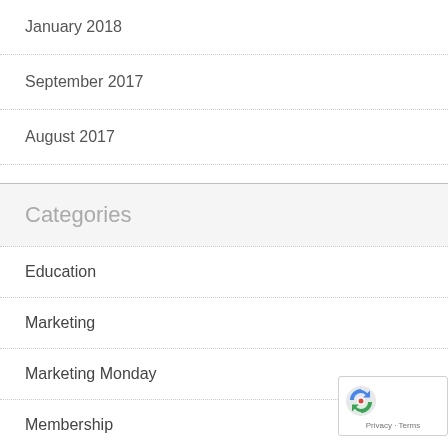January 2018
September 2017
August 2017
Categories
Education
Marketing
Marketing Monday
Membership
Social
Uncategorized